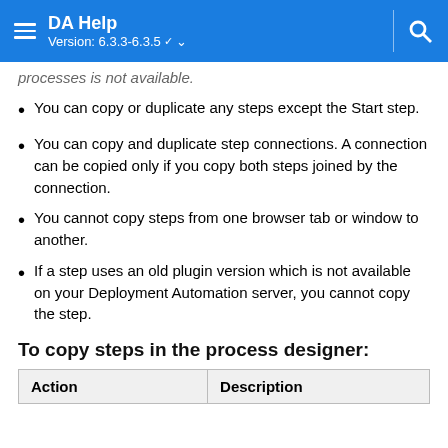DA Help Version: 6.3.3-6.3.5
processes is not available.
You can copy or duplicate any steps except the Start step.
You can copy and duplicate step connections. A connection can be copied only if you copy both steps joined by the connection.
You cannot copy steps from one browser tab or window to another.
If a step uses an old plugin version which is not available on your Deployment Automation server, you cannot copy the step.
To copy steps in the process designer:
| Action | Description |
| --- | --- |